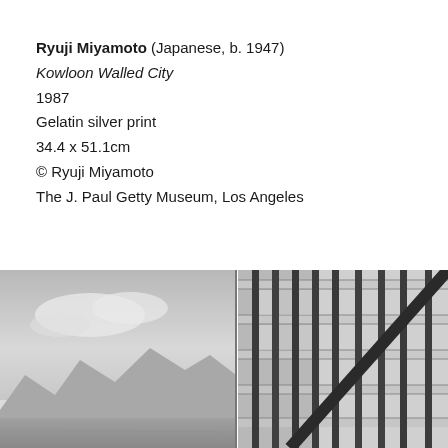Ryuji Miyamoto (Japanese, b. 1947)
Kowloon Walled City
1987
Gelatin silver print
34.4 x 51.1cm
© Ryuji Miyamoto
The J. Paul Getty Museum, Los Angeles
[Figure (photo): Black and white photograph split into two panels: left panel shows an open landscape with cloudy sky and distant mountains; right panel shows close-up of a building's structural framework with vertical and diagonal steel/concrete elements.]